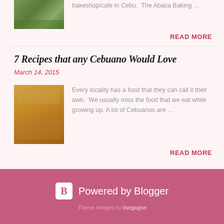[Figure (photo): Thumbnail photo of a shop exterior with green plants/foliage]
bakeshop/cafe in Cebu.  The Abaca Baking …
READ MORE
7 Recipes that any Cebuano Would Love
March 14, 2015
[Figure (photo): Thumbnail photo of fried spring rolls / lumpia on a plate]
Every locality has a food that they can call it their own.  We usually miss the food that we eat while growing up. A lot of Cebuanos are …
READ MORE
Powered by Blogger
Theme images by lisegagne